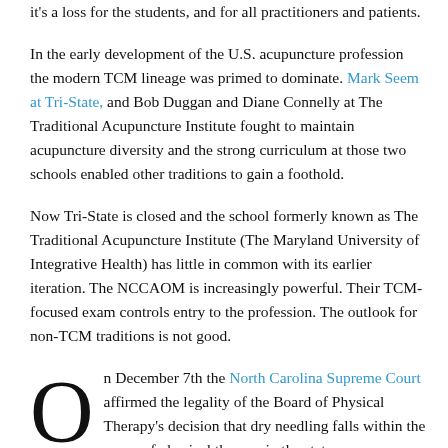it's a loss for the students, and for all practitioners and patients.
In the early development of the U.S. acupuncture profession the modern TCM lineage was primed to dominate. Mark Seem at Tri-State, and Bob Duggan and Diane Connelly at The Traditional Acupuncture Institute fought to maintain acupuncture diversity and the strong curriculum at those two schools enabled other traditions to gain a foothold.
Now Tri-State is closed and the school formerly known as The Traditional Acupuncture Institute (The Maryland University of Integrative Health) has little in common with its earlier iteration. The NCCAOM is increasingly powerful. Their TCM-focused exam controls entry to the profession. The outlook for non-TCM traditions is not good.
On December 7th the North Carolina Supreme Court affirmed the legality of the Board of Physical Therapy's decision that dry needling falls within the scope of physical therapy in the state.